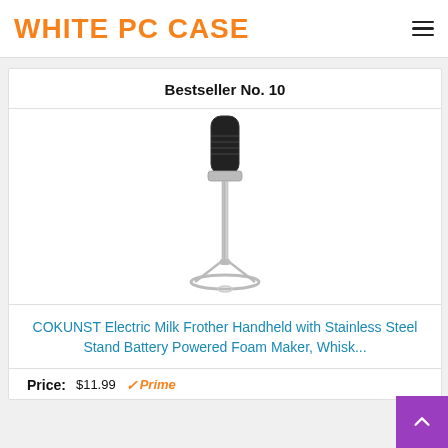WHITE PC CASE
Bestseller No. 10
[Figure (photo): COKUNST Electric Milk Frother handheld device with stainless steel stand, black body on chrome ring base]
COKUNST Electric Milk Frother Handheld with Stainless Steel Stand Battery Powered Foam Maker, Whisk...
Price: $11.99 ✓Prime